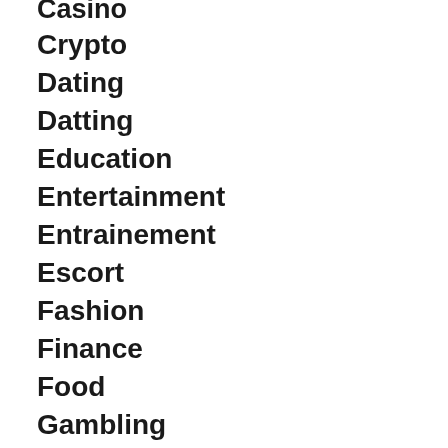Casino
Crypto
Dating
Datting
Education
Entertainment
Entrainement
Escort
Fashion
Finance
Food
Gambling
Game
Games
Gamnling
Gmbling